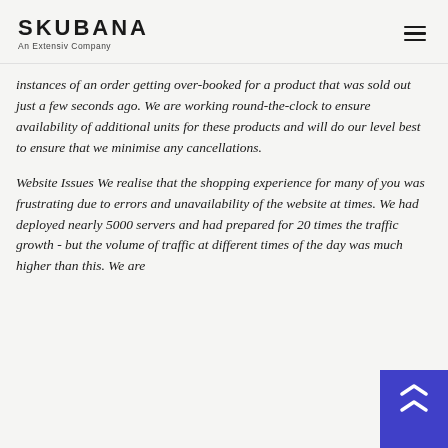SKUBANA — An Extensiv Company
instances of an order getting over-booked for a product that was sold out just a few seconds ago. We are working round-the-clock to ensure availability of additional units for these products and will do our level best to ensure that we minimise any cancellations.
Website Issues We realise that the shopping experience for many of you was frustrating due to errors and unavailability of the website at times. We had deployed nearly 5000 servers and had prepared for 20 times the traffic growth - but the volume of traffic at different times of the day was much higher than this. We are